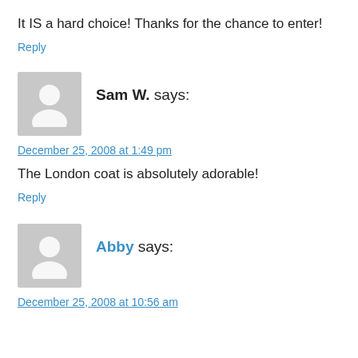It IS a hard choice! Thanks for the chance to enter!
Reply
Sam W. says:
December 25, 2008 at 1:49 pm
The London coat is absolutely adorable!
Reply
Abby says:
December 25, 2008 at 10:56 am